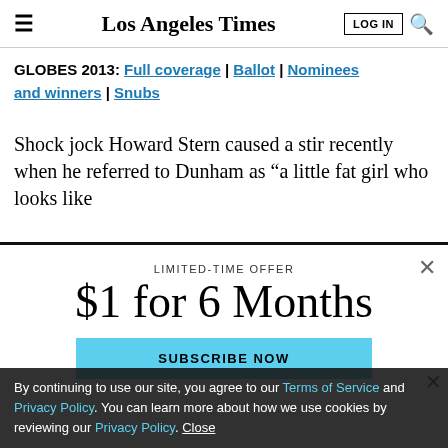Los Angeles Times
GLOBES 2013: Full coverage | Ballot | Nominees and winners | Snubs
Shock jock Howard Stern caused a stir recently when he referred to Dunham as “a little fat girl who looks like
LIMITED-TIME OFFER
$1 for 6 Months
SUBSCRIBE NOW
By continuing to use our site, you agree to our Terms of Service and Privacy Policy. You can learn more about how we use cookies by reviewing our Privacy Policy. Close